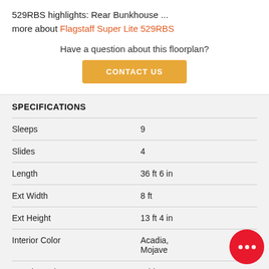529RBS highlights: Rear Bunkhouse ... more about Flagstaff Super Lite 529RBS
Have a question about this floorplan?
SPECIFICATIONS
|  |  |
| --- | --- |
| Sleeps | 9 |
| Slides | 4 |
| Length | 36 ft 6 in |
| Ext Width | 8 ft |
| Ext Height | 13 ft 4 in |
| Interior Color | Acadia, Mojave |
| Exterior Color | White, Champagne |